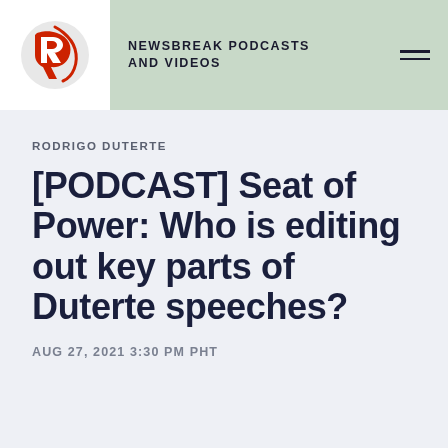NEWSBREAK PODCASTS AND VIDEOS
RODRIGO DUTERTE
[PODCAST] Seat of Power: Who is editing out key parts of Duterte speeches?
AUG 27, 2021 3:30 PM PHT